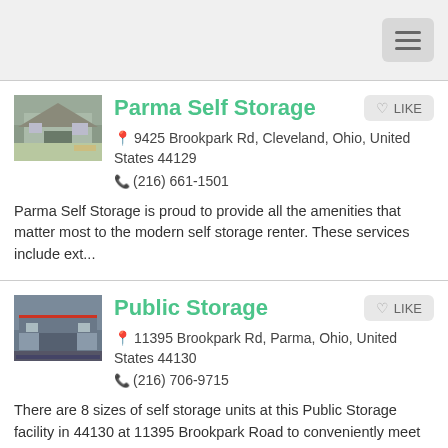[Figure (screenshot): Hamburger menu button in top right corner]
[Figure (photo): Photo of Parma Self Storage facility building]
Parma Self Storage
9425 Brookpark Rd, Cleveland, Ohio, United States 44129
(216) 661-1501
Parma Self Storage is proud to provide all the amenities that matter most to the modern self storage renter. These services include ext...
[Figure (photo): Photo of Public Storage facility building]
Public Storage
11395 Brookpark Rd, Parma, Ohio, United States 44130
(216) 706-9715
There are 8 sizes of self storage units at this Public Storage facility in 44130 at 11395 Brookpark Road to conveniently meet your self...